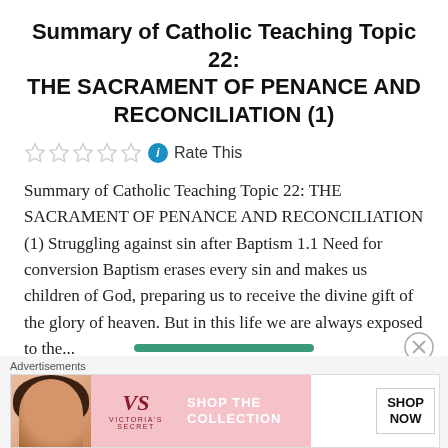Summary of Catholic Teaching Topic 22: THE SACRAMENT OF PENANCE AND RECONCILIATION (1)
Rate This
Summary of Catholic Teaching Topic 22: THE SACRAMENT OF PENANCE AND RECONCILIATION (1) Struggling against sin after Baptism 1.1 Need for conversion Baptism erases every sin and makes us children of God, preparing us to receive the divine gift of the glory of heaven. But in this life we are always exposed to the...
[Figure (screenshot): Victoria's Secret advertisement banner with model, VS logo, 'SHOP THE COLLECTION' text, and 'SHOP NOW' button]
Advertisements